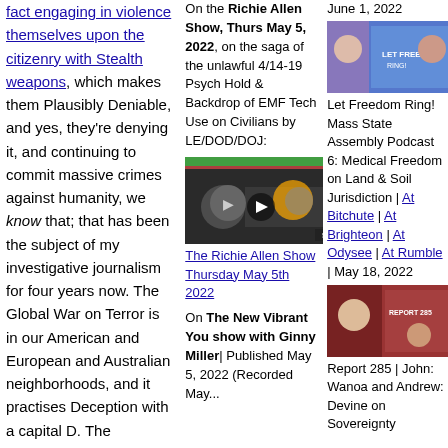fact engaging in violence themselves upon the citizenry with Stealth weapons, which makes them Plausibly Deniable, and yes, they're denying it, and continuing to commit massive crimes against humanity, we know that; that has been the subject of my investigative journalism for four years now. The Global War on Terror is in our American and European and Australian neighborhoods, and it practises Deception with a capital D. The programs of Countering Violent Extremism and Community Policing and
On the Richie Allen Show, Thurs May 5, 2022, on the saga of the unlawful 4/14-19 Psych Hold & Backdrop of EMF Tech Use on Civilians by LE/DOD/DOJ:
[Figure (screenshot): Video thumbnail for The Richie Allen Show Thursday May 5th 2022 with play button overlay]
The Richie Allen Show Thursday May 5th 2022
On The New Vibrant You show with Ginny Miller| Published May 5, 2022 (Recorded May...
June 1, 2022
[Figure (screenshot): Thumbnail image for Let Freedom Ring! Mass State Assembly Podcast 6]
Let Freedom Ring! Mass State Assembly Podcast 6: Medical Freedom on Land & Soil Jurisdiction | At Bitchute | At Brighteon | At Odysee | At Rumble | May 18, 2022
[Figure (screenshot): Thumbnail image for Report 285 | John: Wanoa and Andrew: Devine on Sovereignty]
Report 285 | John: Wanoa and Andrew: Devine on Sovereignty